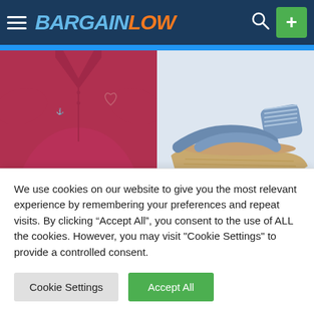BARGAINLOW
[Figure (photo): Nautica Men's Classic Fit polo shirt in dark red/burgundy color, shown on a male torso]
[Figure (photo): Skechers Women's wedge sandal in blue/denim with cork wedge heel]
Nautica Men's Classic Fit
Skechers Women's
We use cookies on our website to give you the most relevant experience by remembering your preferences and repeat visits. By clicking “Accept All”, you consent to the use of ALL the cookies. However, you may visit "Cookie Settings" to provide a controlled consent.
Cookie Settings
Accept All